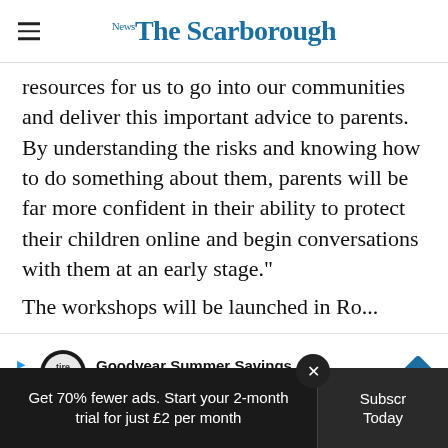The Scarborough News
resources for us to go into our communities and deliver this important advice to parents. By understanding the risks and knowing how to do something about them, parents will be far more confident in their ability to protect their children online and begin conversations with them at an early stage."
The w[orkshops will be launched in Ro[therhm] Catte[...]
[Figure (other): Goodyear Summer Savings advertisement banner - Virginia Tire & Auto of Ashburn]
Get 70% fewer ads. Start your 2-month trial for just £2 per month
Subscribe Today